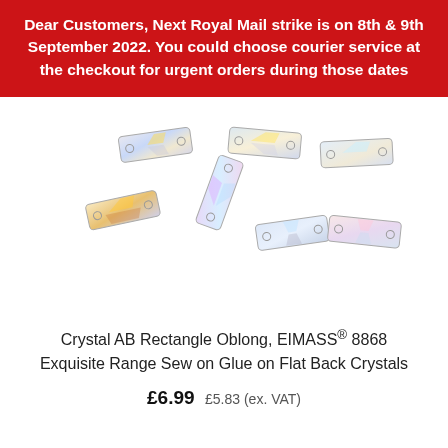Dear Customers, Next Royal Mail strike is on 8th & 9th September 2022. You could choose courier service at the checkout for urgent orders during those dates
[Figure (photo): Product photo of Crystal AB Rectangle Oblong sew-on crystals scattered on white background, showing prismatic rainbow reflections on rectangular flat-back crystals with metal settings]
Crystal AB Rectangle Oblong, EIMASS® 8868 Exquisite Range Sew on Glue on Flat Back Crystals
£6.99 £5.83 (ex. VAT)